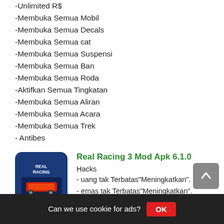-Unlimited R$
-Membuka Semua Mobil
-Membuka Semua Decals
-Membuka Semua cat
-Membuka Semua Suspensi
-Membuka Semua Ban
-Membuka Semua Roda
-Aktifkan Semua Tingkatan
-Membuka Semua Aliran
-Membuka Semua Acara
-Membuka Semua Trek
- Antibes
Real Racing 3 Mod Apk 6.1.0
Hacks
- uang tak Terbatas"Meningkatkan".
- emas tak Terbatas"Meningkatkan".
- Antibes
- Iklan Gratis
Real Racing 3 Mod Apk 6.0.5
Can we use cookie for ads?